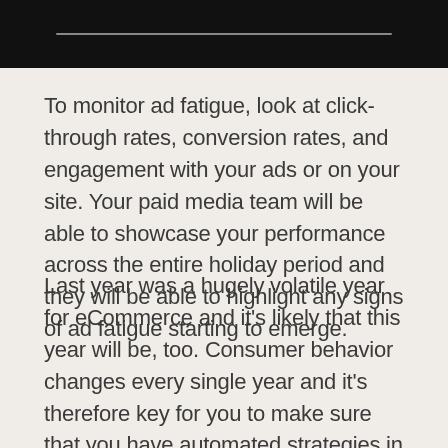[Figure (screenshot): Black video player banner with a grey progress bar/scrubber line in the center]
To monitor ad fatigue, look at click-through rates, conversion rates, and engagement with your ads or on your site. Your paid media team will be able to showcase your performance across the entire holiday period and they will be able to highlight any signs of ad fatigue starting to emerge.
Last year was a hugely volatile year for eCommerce and it's likely that this year will be, too. Consumer behavior changes every single year and it's therefore key for you to make sure that you have automated strategies in place to account for any rapidly changing consumer behaviors in 2021.